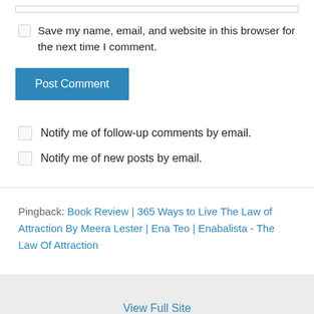Save my name, email, and website in this browser for the next time I comment.
Post Comment
Notify me of follow-up comments by email.
Notify me of new posts by email.
Pingback: Book Review | 365 Ways to Live The Law of Attraction By Meera Lester | Ena Teo | Enabalista - The Law Of Attraction
View Full Site
Proudly powered by WordPress